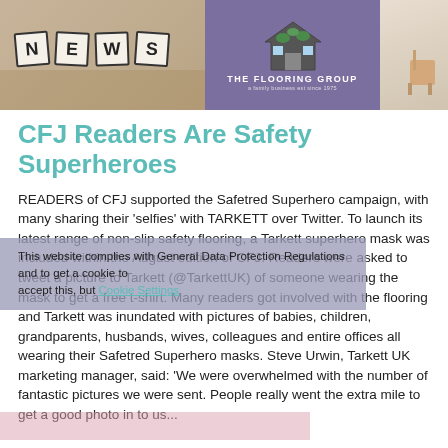[Figure (photo): Header banner with NEWS letter tiles on sandy/beige textured background on the left, The Flooring Group logo on purple background in the center, and a light beige/furniture image on the right]
CFJ Readers Are Safety Superheroes
READERS of CFJ supported the Safetred Superhero campaign, with many sharing their 'selfies' with TARKETT over Twitter. To launch its latest range of non-slip safety flooring, a Tarkett superhero mask was included within the August edition of CFJ. Readers were asked to tweet a picture to Tarkett (@TarkettUK) of someone wearing the mask to get a free t-shirt. Many readers got involved with the flooring and Tarkett was inundated with pictures of babies, children, grandparents, husbands, wives, colleagues and entire offices all wearing their Safetred Superhero masks. Steve Urwin, Tarkett UK marketing manager, said: 'We were overwhelmed with the number of fantastic pictures we were sent. People really went the extra mile to get a good photo in to us...